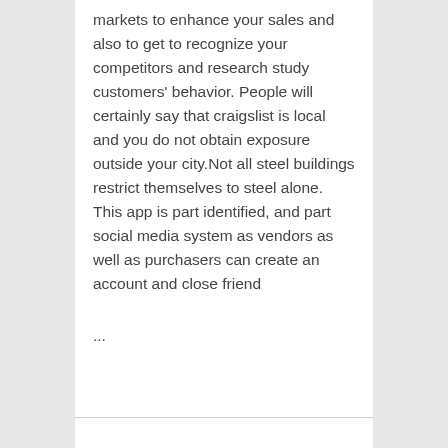markets to enhance your sales and also to get to recognize your competitors and research study customers' behavior. People will certainly say that craigslist is local and you do not obtain exposure outside your city.Not all steel buildings restrict themselves to steel alone. This app is part identified, and part social media system as vendors as well as purchasers can create an account and close friend
...